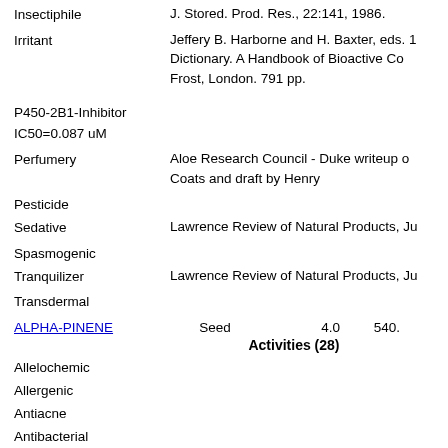Insectiphile
J. Stored. Prod. Res., 22:141, 1986.
Irritant
Jeffery B. Harborne and H. Baxter, eds. 1983. Phytochemical Dictionary. A Handbook of Bioactive Compounds from Plants. Taylor & Frost, London. 791 pp.
P450-2B1-Inhibitor IC50=0.087 uM
Perfumery
Aloe Research Council - Duke writeup of non-peer reviewed book by Coats and draft by Henry
Pesticide
Sedative
Lawrence Review of Natural Products, Jun-90.
Spasmogenic
Tranquilizer
Lawrence Review of Natural Products, Jun-90.
Transdermal
ALPHA-PINENE    Seed    4.0    540.
Activities (28)
Allelochemic
Allergenic
Antiacne
Antibacterial
Antifeedant
Antiflu
Economic & Medicinal Plant Research, 5
Antiinflammatory 500